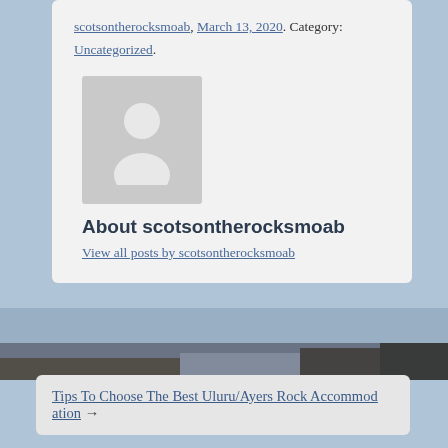scotsontherocksmoab, March 13, 2020. Category: Uncategorized.
[Figure (illustration): Default avatar placeholder image — grey square with white person silhouette]
About scotsontherocksmoab
View all posts by scotsontherocksmoab
[Figure (photo): Blurred outdoor landscape photo strip showing rocks and terrain]
Tips To Choose The Best Uluru/Ayers Rock Accommodation →